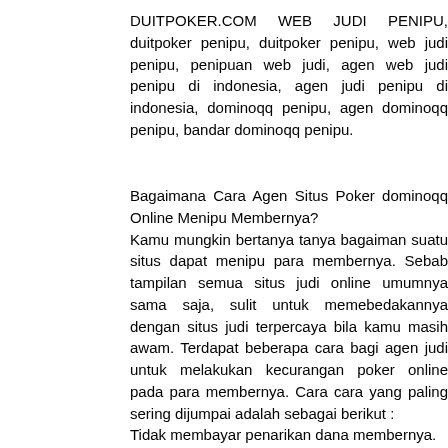DUITPOKER.COM WEB JUDI PENIPU, duitpoker penipu, duitpoker penipu, web judi penipu, penipuan web judi, agen web judi penipu di indonesia, agen judi penipu di indonesia, dominoqq penipu, agen dominoqq penipu, bandar dominoqq penipu.
Bagaimana Cara Agen Situs Poker dominoqq Online Menipu Membernya? Kamu mungkin bertanya tanya bagaiman suatu situs dapat menipu para membernya. Sebab tampilan semua situs judi online umumnya sama saja, sulit untuk memebedakannya dengan situs judi terpercaya bila kamu masih awam. Terdapat beberapa cara bagi agen judi untuk melakukan kecurangan poker online pada para membernya. Cara cara yang paling sering dijumpai adalah sebagai berikut : Tidak membayar penarikan dana membernya. Admin dari situs tersebut ikut bermain di meja sehingga member sulit menang. Credit yang ada di dalam akun hilang sedikit demi sedikit tanpa alasan yang jelas.